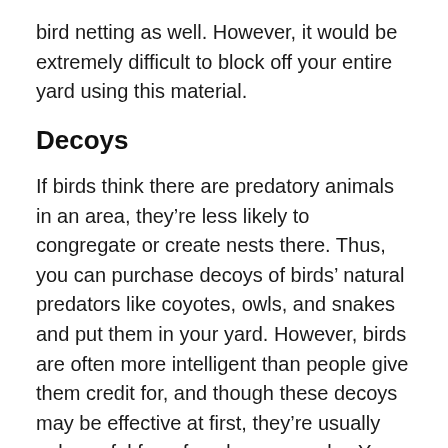bird netting as well. However, it would be extremely difficult to block off your entire yard using this material.
Decoys
If birds think there are predatory animals in an area, they’re less likely to congregate or create nests there. Thus, you can purchase decoys of birds’ natural predators like coyotes, owls, and snakes and put them in your yard. However, birds are often more intelligent than people give them credit for, and though these decoys may be effective at first, they’re usually only useful for a few days or weeks. You may be able to extend this effect by moving the decoys around your yard